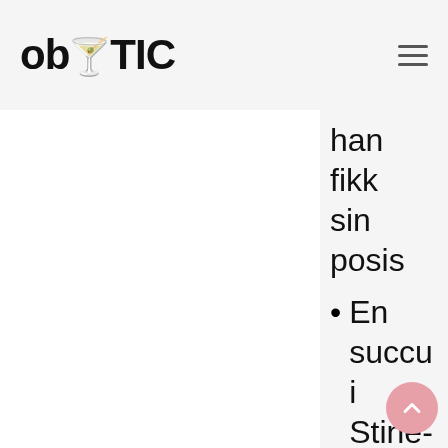ob TIC
han fikk sin posis
En succu i Stine- tårnet klage over "jævla mugg hun prøve